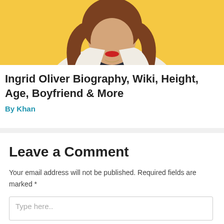[Figure (photo): Portrait photo of Ingrid Oliver against a yellow background, showing a woman with long brown hair and red lipstick wearing a white blazer over a dark top]
Ingrid Oliver Biography, Wiki, Height, Age, Boyfriend & More
By Khan
Leave a Comment
Your email address will not be published. Required fields are marked *
Type here..